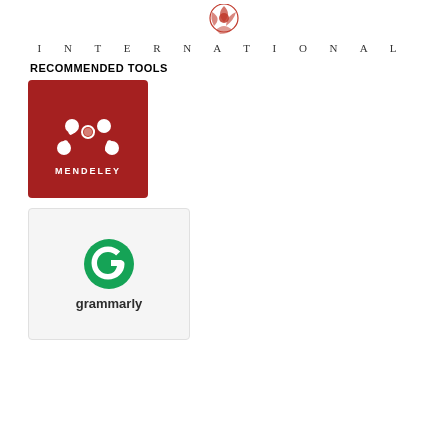[Figure (logo): Organization logo with decorative emblem at top and INTERNATIONAL text in spaced serif capitals below]
RECOMMENDED TOOLS
[Figure (logo): Mendeley logo: red square with white M molecule icon and MENDELEY text]
[Figure (logo): Grammarly logo: white background with green G circle icon and 'grammarly' text in dark gray]